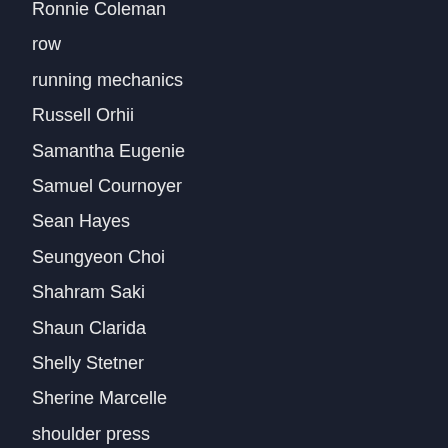Ronnie Coleman
row
running mechanics
Russell Orhii
Samantha Eugenie
Samuel Cournoyer
Sean Hayes
Seungyeon Choi
Shahram Saki
Shaun Clarida
Shelly Stetner
Sherine Marcelle
shoulder press